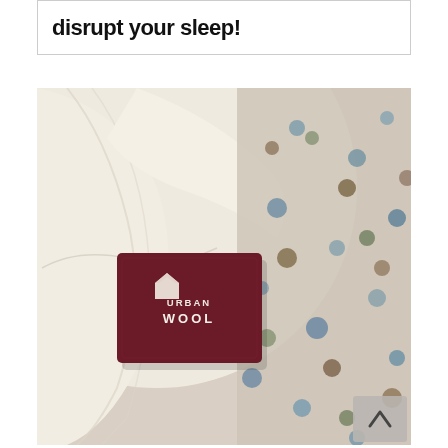disrupt your sleep!
[Figure (photo): Close-up photo of a cream/white wool blanket or duvet with a dark maroon UrbanWool brand label visible, laid next to a colorful polka-dot patterned fabric or rug. A scroll-to-top button with an upward chevron is visible in the bottom-right corner.]